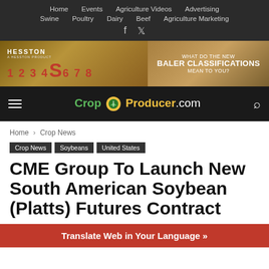Home  Events  Agriculture Videos  Advertising  Swine  Poultry  Dairy  Beef  Agriculture Marketing
[Figure (illustration): Hesston banner advertisement: '1234 S 6789' with text 'WHAT DO THE NEW BALER CLASSIFICATIONS MEAN TO YOU?' on a hay bale background]
CropProducer.com
Home › Crop News
Crop News
Soybeans
United States
CME Group To Launch New South American Soybean (Platts) Futures Contract
Translate Web in Your Language »